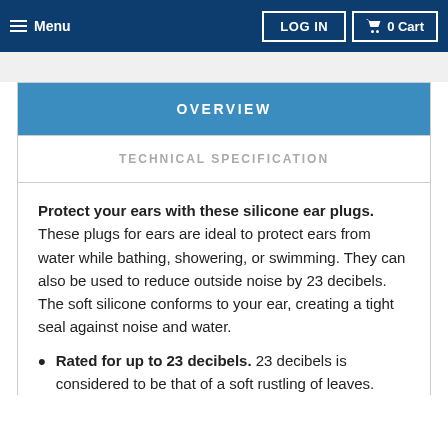≡ Menu | LOG IN | 🛒 0 Cart
OVERVIEW
TECHNICAL SPECIFICATION
Protect your ears with these silicone ear plugs. These plugs for ears are ideal to protect ears from water while bathing, showering, or swimming. They can also be used to reduce outside noise by 23 decibels. The soft silicone conforms to your ear, creating a tight seal against noise and water.
Rated for up to 23 decibels. 23 decibels is considered to be that of a soft rustling of leaves.